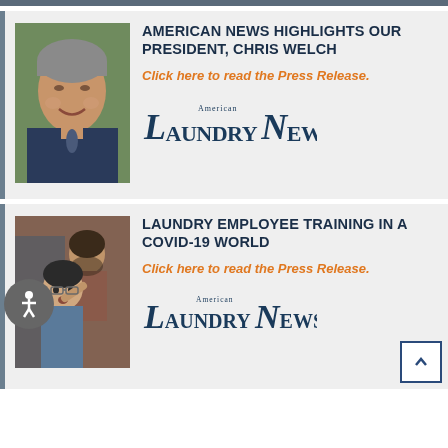[Figure (photo): Partial top gray bar at top of page]
[Figure (photo): Photo of Chris Welch, a middle-aged man with gray hair wearing a dark blue shirt and tie, smiling]
AMERICAN NEWS HIGHLIGHTS OUR PRESIDENT, CHRIS WELCH
Click here to read the Press Release.
[Figure (logo): American Laundry News logo]
[Figure (photo): Photo of two people in a laundry employee training scenario, one pointing at the other]
LAUNDRY EMPLOYEE TRAINING IN A COVID-19 WORLD
Click here to read the Press Release.
[Figure (logo): American Laundry News logo (partial, bottom)]